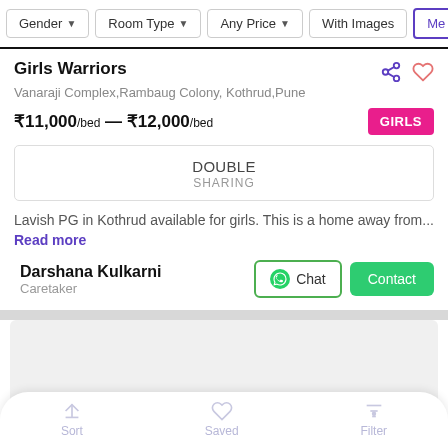Gender | Room Type | Any Price | With Images | Me
Girls Warriors
Vanaraji Complex,Rambaug Colony, Kothrud,Pune
₹11,000/bed — ₹12,000/bed
DOUBLE SHARING
Lavish PG in Kothrud available for girls. This is a home away from... Read more
Darshana Kulkarni
Caretaker
Sort | Saved | Filter